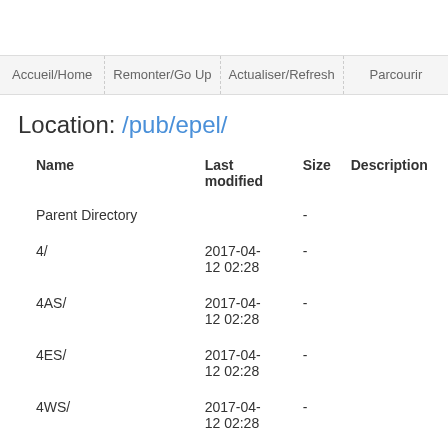Accueil/Home | Remonter/Go Up | Actualiser/Refresh | Parcourir
Location: /pub/epel/
| Name | Last modified | Size | Description |
| --- | --- | --- | --- |
| Parent Directory |  | - |  |
| 4/ | 2017-04-12 02:28 | - |  |
| 4AS/ | 2017-04-12 02:28 | - |  |
| 4ES/ | 2017-04-12 02:28 | - |  |
| 4WS/ | 2017-04-12 02:28 | - |  |